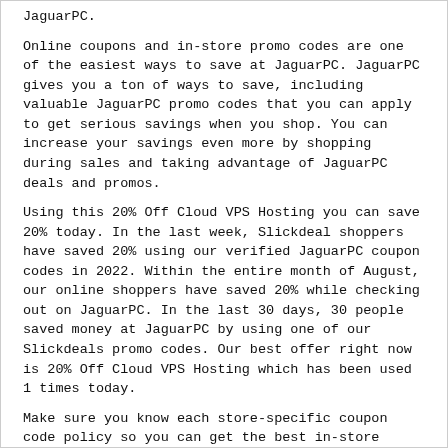JaguarPC.
Online coupons and in-store promo codes are one of the easiest ways to save at JaguarPC. JaguarPC gives you a ton of ways to save, including valuable JaguarPC promo codes that you can apply to get serious savings when you shop. You can increase your savings even more by shopping during sales and taking advantage of JaguarPC deals and promos.
Using this 20% Off Cloud VPS Hosting you can save 20% today. In the last week, Slickdeal shoppers have saved 20% using our verified JaguarPC coupon codes in 2022. Within the entire month of August, our online shoppers have saved 20% while checking out on JaguarPC. In the last 30 days, 30 people saved money at JaguarPC by using one of our Slickdeals promo codes. Our best offer right now is 20% Off Cloud VPS Hosting which has been used 1 times today.
Make sure you know each store-specific coupon code policy so you can get the best in-store discounts with your printable promo codes and printable coupons for in-store deals. Check to see if JaguarPC allows stackable coupons, student discounts, military discounts, or senior discounts.
Check out the sales or clearance pages to score online discounts and serious savings at JaguarPC.
Sign up and subscribe for email programs if you want to be the first to know about JaguarPC's upcoming sales, promotions and upcoming releases. Check for rewards